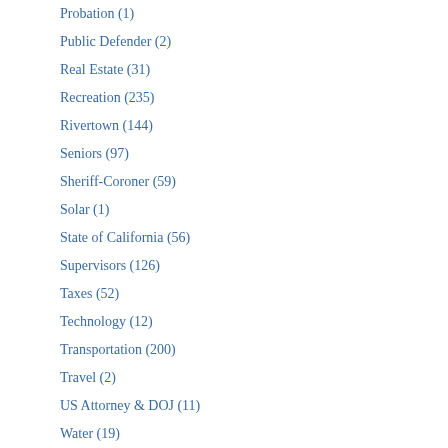Probation (1)
Public Defender (2)
Real Estate (31)
Recreation (235)
Rivertown (144)
Seniors (97)
Sheriff-Coroner (59)
Solar (1)
State of California (56)
Supervisors (126)
Taxes (52)
Technology (12)
Transportation (200)
Travel (2)
US Attorney & DOJ (11)
Water (19)
Weather (10)
Youth (299)
Recent Comments
Antioch Mayor Thorpe admits to private meeting with DA Becton
Reply
Marty Fernandez says:
April 14, 2017 at 9:34 am
Not this again Allen!
Reply
Publisher says:
April 14, 2017 at 3:06 pm
Marty, What's your challenge with using a lo... This isn't "again." It's part of a contin... Unfortunately, it won't be done in tim... But, it can be the system from the Hill... Byron, Discovery Bay and the Byron... and Pleasanton, as well.